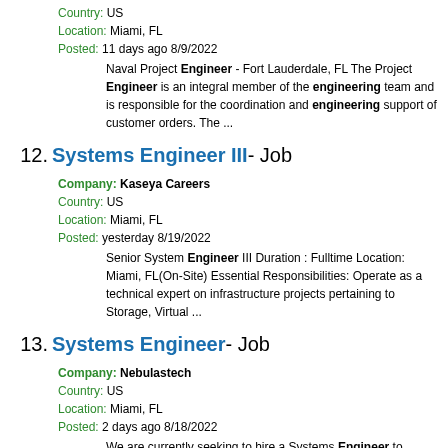Country: US
Location: Miami, FL
Posted: 11 days ago 8/9/2022
Naval Project Engineer - Fort Lauderdale, FL The Project Engineer is an integral member of the engineering team and is responsible for the coordination and engineering support of customer orders. The ...
12. Systems Engineer III - Job
Company: Kaseya Careers
Country: US
Location: Miami, FL
Posted: yesterday 8/19/2022
Senior System Engineer III Duration : Fulltime Location: Miami, FL(On-Site) Essential Responsibilities: Operate as a technical expert on infrastructure projects pertaining to Storage, Virtual ...
13. Systems Engineer - Job
Company: Nebulastech
Country: US
Location: Miami, FL
Posted: 2 days ago 8/18/2022
We are currently seeking to hire a Systems Engineer to become an integral part of our development team! You will design and test operating systems-level software and network distribution software